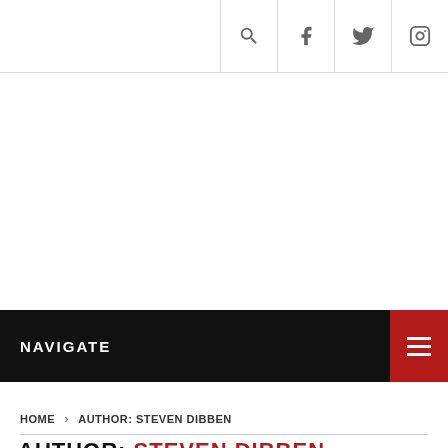Navigation bar with search, Facebook, Twitter, Instagram icons
NAVIGATE
HOME › AUTHOR: STEVEN DIBBEN
AUTHOR: STEVEN DIBBEN